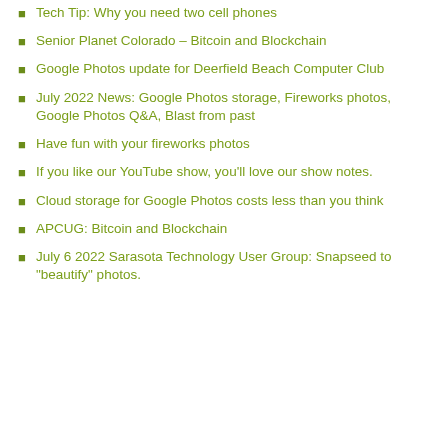Tech Tip: Why you need two cell phones
Senior Planet Colorado – Bitcoin and Blockchain
Google Photos update for Deerfield Beach Computer Club
July 2022 News: Google Photos storage, Fireworks photos, Google Photos Q&A, Blast from past
Have fun with your fireworks photos
If you like our YouTube show, you'll love our show notes.
Cloud storage for Google Photos costs less than you think
APCUG: Bitcoin and Blockchain
July 6 2022 Sarasota Technology User Group: Snapseed to "beautify" photos.